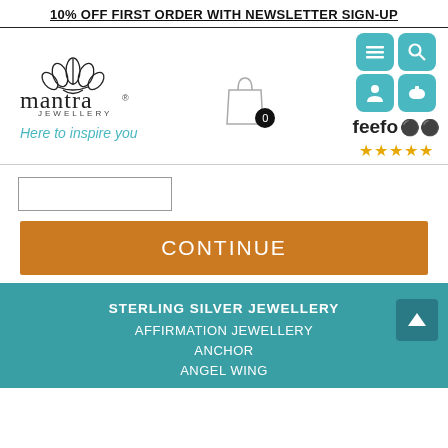10% OFF FIRST ORDER WITH NEWSLETTER SIGN-UP
[Figure (logo): Mantra Jewellery logo with lotus flower, tagline 'Here to inspire you']
[Figure (illustration): Shopping bag with 0 badge, navigation icons (menu, search, user, phone), Feefo 5-star rating]
[Figure (other): Input box (form field)]
CONTINUE
STERLING SILVER JEWELLERY
AFFIRMATION JEWELLERY
ANCHOR
ANGEL WING